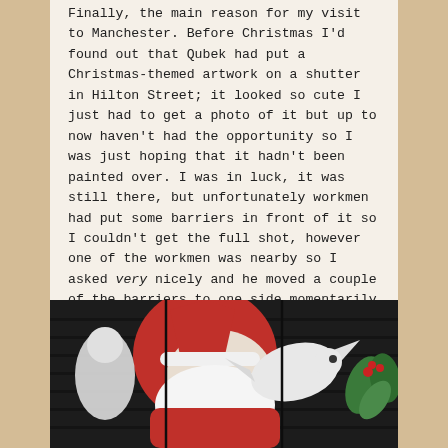Finally, the main reason for my visit to Manchester. Before Christmas I'd found out that Qubek had put a Christmas-themed artwork on a shutter in Hilton Street; it looked so cute I just had to get a photo of it but up to now haven't had the opportunity so I was just hoping that it hadn't been painted over. I was in luck, it was still there, but unfortunately workmen had put some barriers in front of it so I couldn't get the full shot, however one of the workmen was nearby so I asked very nicely and he moved a couple of the barriers to one side momentarily so I could get an uninterrupted shot of the main part of it.
[Figure (photo): Photo of a Christmas-themed street mural on a shutter, showing what appears to be a large Santa Claus figure with red hat and white/red clothing, with some green elements, painted on a dark corrugated metal shutter.]